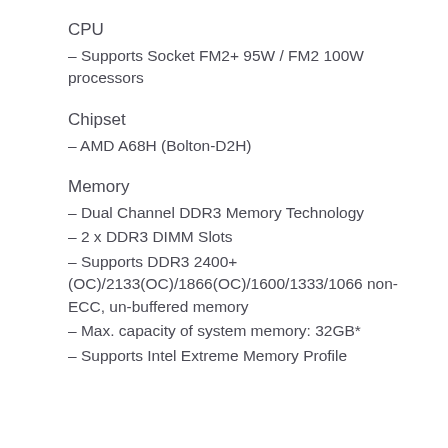CPU
– Supports Socket FM2+ 95W / FM2 100W processors
Chipset
– AMD A68H (Bolton-D2H)
Memory
– Dual Channel DDR3 Memory Technology
– 2 x DDR3 DIMM Slots
– Supports DDR3 2400+(OC)/2133(OC)/1866(OC)/1600/1333/1066 non-ECC, un-buffered memory
– Max. capacity of system memory: 32GB*
– Supports Intel Extreme Memory Profile